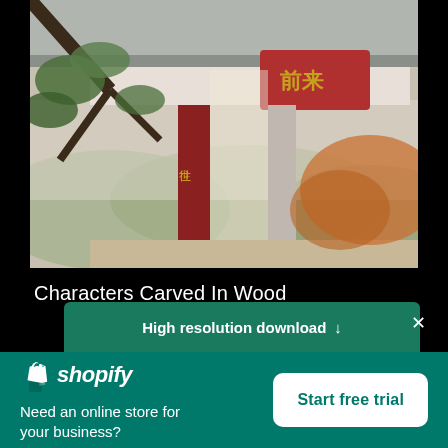[Figure (photo): Photo of a Chinese temple or pavilion with red wooden columns, decorative red sign with Chinese characters, tree branches in foreground, and mountains/landscape in background.]
Characters Carved In Wood
High resolution download ↓
[Figure (logo): Shopify logo — bag icon and italic bold 'shopify' text in white on teal background]
Need an online store for your business?
Start free trial